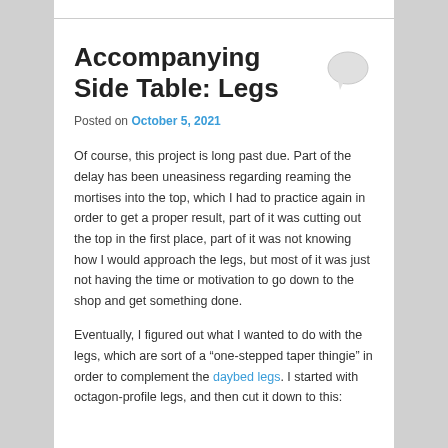Accompanying Side Table: Legs
Posted on October 5, 2021
Of course, this project is long past due. Part of the delay has been uneasiness regarding reaming the mortises into the top, which I had to practice again in order to get a proper result, part of it was cutting out the top in the first place, part of it was not knowing how I would approach the legs, but most of it was just not having the time or motivation to go down to the shop and get something done.
Eventually, I figured out what I wanted to do with the legs, which are sort of a “one-stepped taper thingie” in order to complement the daybed legs. I started with octagon-profile legs, and then cut it down to this: